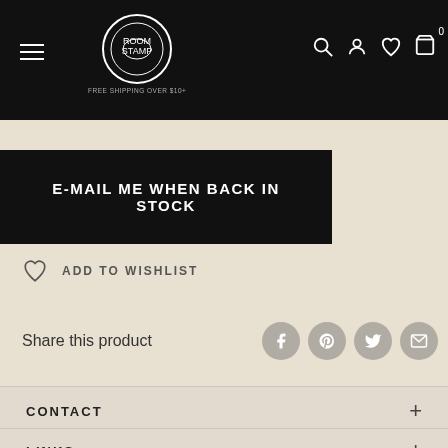FREE SHIPPING OVER $10+
E-MAIL ME WHEN BACK IN STOCK
ADD TO WISHLIST
Share this product
CONTACT
LINKS
NEWSLETTER